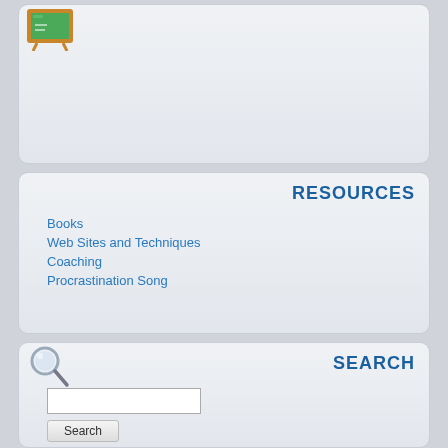SITE CONTENT
Recent Content
Chatbox
Articles
Forums
Polls
RESOURCES
Books
Web Sites and Techniques
Coaching
Procrastination Song
SEARCH